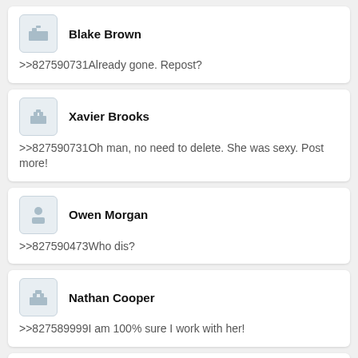Blake Brown
>>827590731Already gone. Repost?
Xavier Brooks
>>827590731Oh man, no need to delete. She was sexy. Post more!
Owen Morgan
>>827590473Who dis?
Nathan Cooper
>>827589999I am 100% sure I work with her!
Bentley Williams